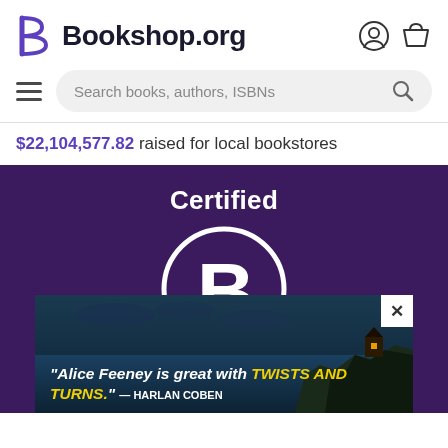Bookshop.org
$22,104,577.82 raised for local bookstores
[Figure (logo): Certified B Corporation logo — white circle with B inside on dark purple background, with 'Certified' above and 'Corporation' below]
[Figure (photo): Advertisement banner showing Alice Feeney book ad with quote: 'Alice Feeney is great with TWISTS AND TURNS.' — HARLAN COBEN, dark ocean/castle background]